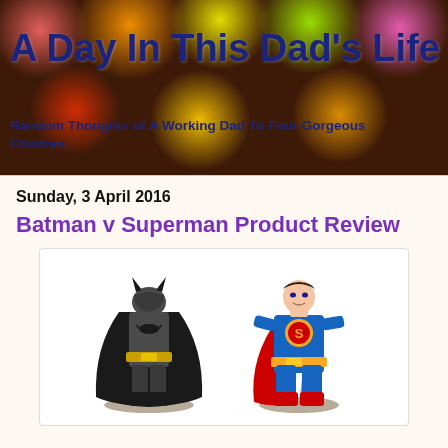[Figure (photo): Blog header banner with colorful bokeh light circles on a dark warm background]
A Day In This Dad's Life
Random Thoughts of A Working Dad To Four Gorgeous Children.
Sunday, 3 April 2016
Batman v Superman Product Review
[Figure (photo): Figurines of Batman (dark grey suit with gold belt) and Superman (blue suit with red cape) standing on rocky bases]